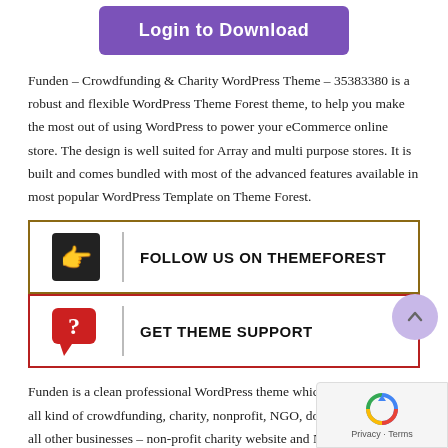[Figure (other): Purple 'Login to Download' button]
Funden – Crowdfunding & Charity WordPress Theme – 35383380 is a robust and flexible WordPress Theme Forest theme, to help you make the most out of using WordPress to power your eCommerce online store. The design is well suited for Array and multi purpose stores. It is built and comes bundled with most of the advanced features available in most popular WordPress Template on Theme Forest.
[Figure (infographic): FOLLOW US ON THEMEFOREST banner with dark hand icon and vertical divider, olive/brown border]
[Figure (infographic): GET THEME SUPPORT banner with red speech bubble question mark icon and vertical divider, red border]
Funden is a clean professional WordPress theme which all kind of crowdfunding, charity, nonprofit, NGO, donati all other businesses – non-profit charity website and NGO